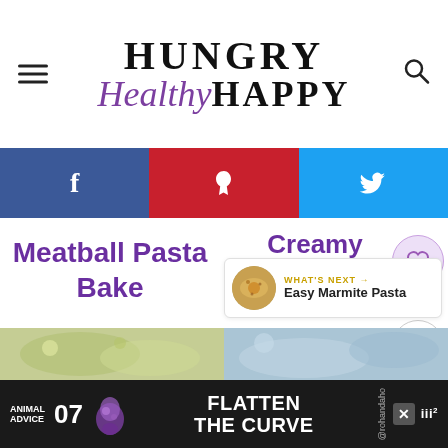HUNGRY Healthy HAPPY
[Figure (infographic): Social sharing bar with Facebook, Pinterest, and Twitter icons]
Meatball Pasta Bake
Creamy Tomato and Chicken Pasta Bake
211
WHAT'S NEXT → Easy Marmite Pasta
[Figure (photo): Food photo of pasta dish on left side]
[Figure (photo): Food photo of pasta dish on right side]
ANIMAL ADVICE 07 FLATTEN THE CURVE @rohandaho